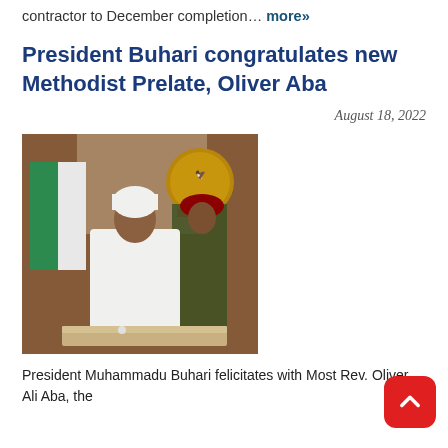contractor to December completion… more»
President Buhari congratulates new Methodist Prelate, Oliver Aba
August 18, 2022
[Figure (photo): President Muhammadu Buhari seated at a desk in white attire with white cap, Nigerian flag on the left, Nigeria coat of arms medallion in the background, a military aide standing behind him]
President Muhammadu Buhari felicitates with Most Rev. Oliver Ali Aba, the